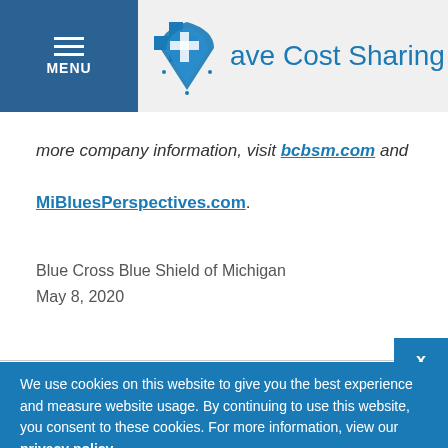Cost Sharing For Medicare Advan
more company information, visit bcbsm.com and MiBluesPerspectives.com.
Blue Cross Blue Shield of Michigan
May 8, 2020
We use cookies on this website to give you the best experience and measure website usage. By continuing to use this website, you consent to these cookies. For more information, view our privacy policy.
BLUE CROSS BLUE SHIELD ASSOCIATION...
Blue Cross Blue Shield of Michigan Names Vice President of National Employee Benefits Administration and Blue Venture Fund.